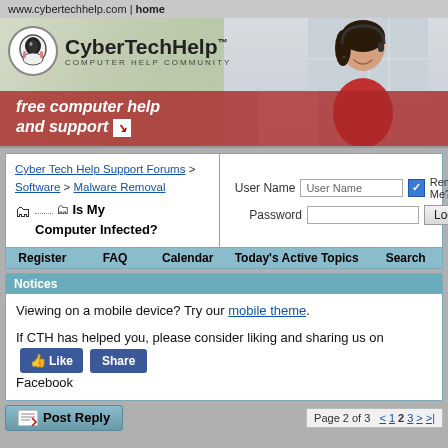www.cybertechhelp.com | home
[Figure (screenshot): CyberTechHelp banner with logo, tagline 'COMPUTER HELP COMMUNITY', 'free computer help and support' text overlay and woman with headset]
| Cyber Tech Help Support Forums > Software > Malware Removal
Is My Computer Infected? | User Name | Password | Remember Me? | Log in |
Register  FAQ  Calendar  Today's Active Topics  Search
Notices
Viewing on a mobile device? Try our mobile theme.
If CTH has helped you, please consider liking and sharing us on Facebook
Post Reply  Page 2 of 3  < 1 2 3 > >|